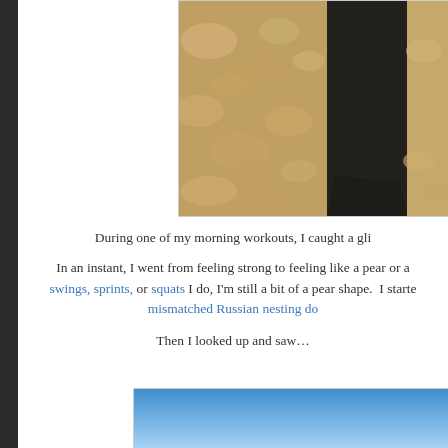[Figure (photo): Close-up photo of sandy/rocky textured ground with a dark shadow cast across it, viewed from above during a morning workout.]
During one of my morning workouts, I caught a gli...
In an instant, I went from feeling strong to feeling like a pear or a... swings, sprints, or squats I do, I'm still a bit of a pear shape. I starte... mismatched Russian nesting do...
Then I looked up and saw...
[Figure (photo): Partial photo showing a blue sky with gradient, bottom portion of page.]